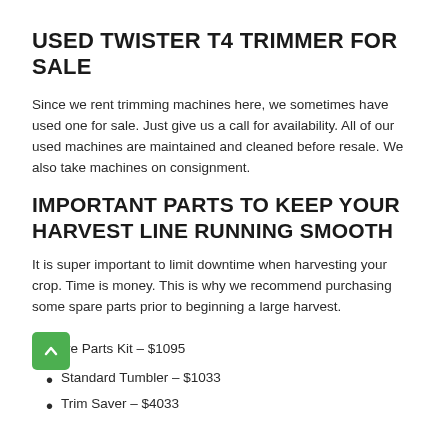USED TWISTER T4 TRIMMER FOR SALE
Since we rent trimming machines here, we sometimes have used one for sale. Just give us a call for availability. All of our used machines are maintained and cleaned before resale. We also take machines on consignment.
IMPORTANT PARTS TO KEEP YOUR HARVEST LINE RUNNING SMOOTH
It is super important to limit downtime when harvesting your crop. Time is money. This is why we recommend purchasing some spare parts prior to beginning a large harvest.
Spare Parts Kit – $1095
Standard Tumbler – $1033
Trim Saver – $4033